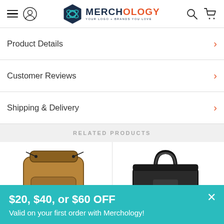Merchology — YOUR LOGO + BRANDS YOU LOVE
Product Details
Customer Reviews
Shipping & Delivery
RELATED PRODUCTS
[Figure (photo): Brown/tan backpack product image (partial, cropped at bottom)]
[Figure (photo): Black bag with handle product image (partial, cropped at bottom)]
$20, $40, or $60 OFF
Valid on your first order with Merchology!